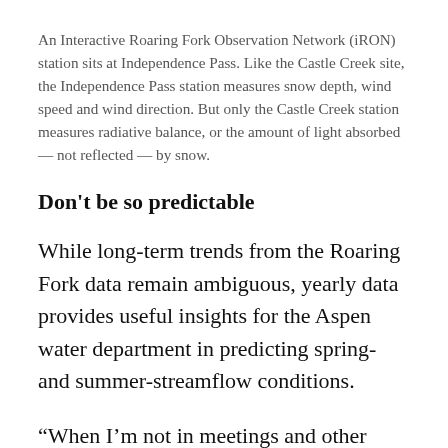An Interactive Roaring Fork Observation Network (iRON) station sits at Independence Pass. Like the Castle Creek site, the Independence Pass station measures snow depth, wind speed and wind direction. But only the Castle Creek station measures radiative balance, or the amount of light absorbed — not reflected — by snow.
Don't be so predictable
While long-term trends from the Roaring Fork data remain ambiguous, yearly data provides useful insights for the Aspen water department in predicting spring- and summer-streamflow conditions.
“When I’m not in meetings and other obligations, I’m constantly looking at data,”